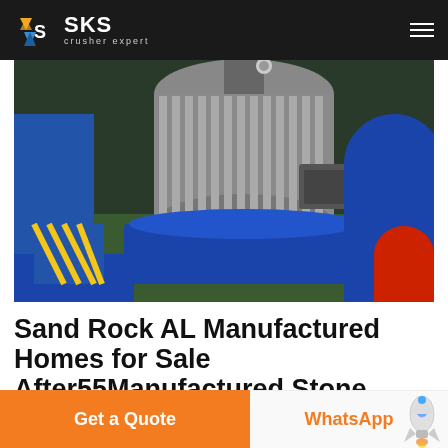SKS crusher expert
[Figure (photo): Close-up photo of an industrial electric motor mounted on blue machinery with yellow safety markings, red components visible on the right side.]
Sand Rock AL Manufactured Homes for Sale After55Manufactured Stone Landscape Supply Natural Stone
View Manufactured Homes for Sale in Sand Rock Alabama
Get a Quote
WhatsApp